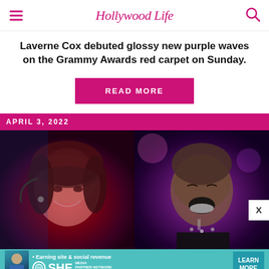Hollywood Life
Laverne Cox debuted glossy new purple waves on the Grammy Awards red carpet on Sunday.
READ MORE
APRIL 3, 2022
[Figure (photo): Two photos side by side: left shows a woman with dark hair smiling under red stage lighting; right shows a woman with shaved head laughing on stage with purple/pink lighting behind her]
[Figure (infographic): SHE Partner Network advertisement banner: Earning site & social revenue - LEARN MORE button]